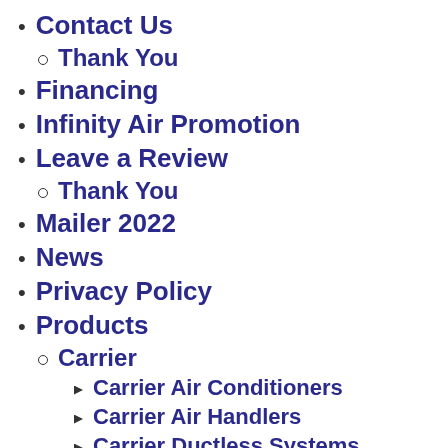Contact Us
Thank You
Financing
Infinity Air Promotion
Leave a Review
Thank You
Mailer 2022
News
Privacy Policy
Products
Carrier
Carrier Air Conditioners
Carrier Air Handlers
Carrier Ductless Systems